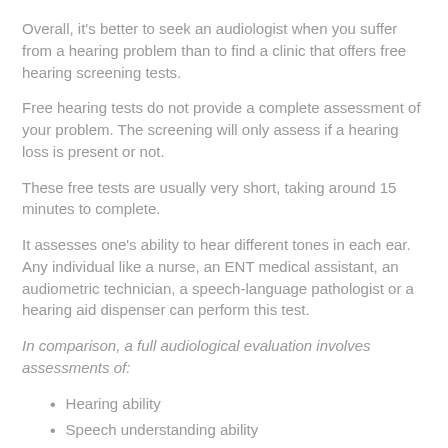Overall, it's better to seek an audiologist when you suffer from a hearing problem than to find a clinic that offers free hearing screening tests.
Free hearing tests do not provide a complete assessment of your problem. The screening will only assess if a hearing loss is present or not.
These free tests are usually very short, taking around 15 minutes to complete.
It assesses one's ability to hear different tones in each ear. Any individual like a nurse, an ENT medical assistant, an audiometric technician, a speech-language pathologist or a hearing aid dispenser can perform this test.
In comparison, a full audiological evaluation involves assessments of:
Hearing ability
Speech understanding ability
The outer, inner and middle ear